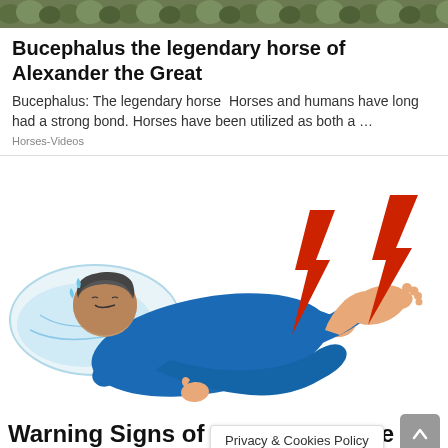[Figure (photo): Top banner photo showing outdoor nature scene with trees/foliage]
Bucephalus the legendary horse of Alexander the Great
Bucephalus: The legendary horse  Horses and humans have long had a strong bond. Horses have been utilized as both a …
Horses-Videos
[Figure (illustration): Illustration of a person in blue pajamas lying down in pain with red lightning bolt symbols indicating pain near the leg/foot area]
Warning Signs of Am  Be